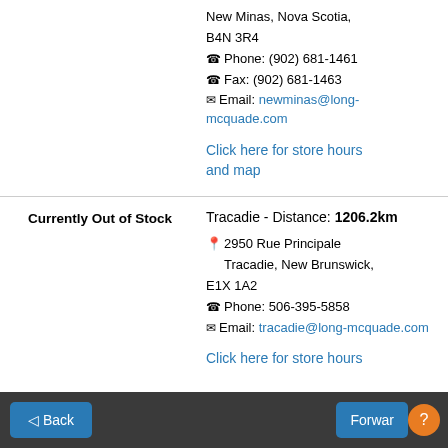New Minas, Nova Scotia, B4N 3R4
Phone: (902) 681-1461
Fax: (902) 681-1463
Email: newminas@long-mcquade.com
Click here for store hours and map
Currently Out of Stock
Tracadie - Distance: 1206.2km
2950 Rue Principale Tracadie, New Brunswick, E1X 1A2
Phone: 506-395-5858
Email: tracadie@long-mcquade.com
Click here for store hours and map
Back  Forward